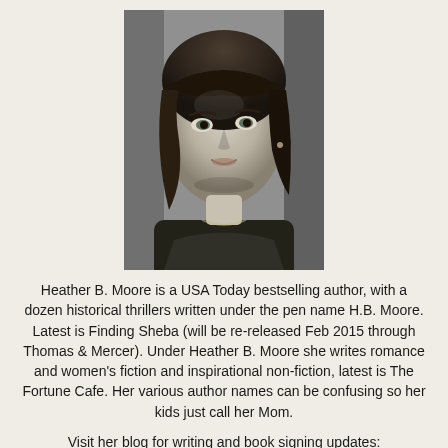[Figure (photo): Black and white headshot photograph of a woman with shoulder-length dark hair, looking slightly downward, wearing a dark top.]
Heather B. Moore is a USA Today bestselling author, with a dozen historical thrillers written under the pen name H.B. Moore. Latest is Finding Sheba (will be re-released Feb 2015 through Thomas & Mercer). Under Heather B. Moore she writes romance and women's fiction and inspirational non-fiction, latest is The Fortune Cafe. Her various author names can be confusing so her kids just call her Mom.
Visit her blog for writing and book signing updates: http://mywriterslair.blogspot.com